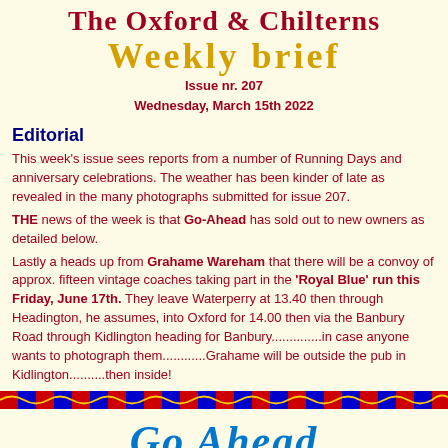The Oxford & Chilterns
Weekly brief
Issue nr. 207
Wednesday, March 15th 2022
Editorial
This week's issue sees reports from a number of Running Days and anniversary celebrations. The weather has been kinder of late as revealed in the many photographs submitted for issue 207.
THE news of the week is that Go-Ahead has sold out to new owners as detailed below.
Lastly a heads up from Grahame Wareham that there will be a convoy of approx. fifteen vintage coaches taking part in the 'Royal Blue' run this Friday, June 17th. They leave Waterperry at 13.40 then through Headington, he assumes, into Oxford for 14.00 then via the Banbury Road through Kidlington heading for Banbury..............in case anyone wants to photograph them............Grahame will be outside the pub in Kidlington..........then inside!
[Figure (illustration): Decorative red and blue wavy divider bar]
Go Ahead